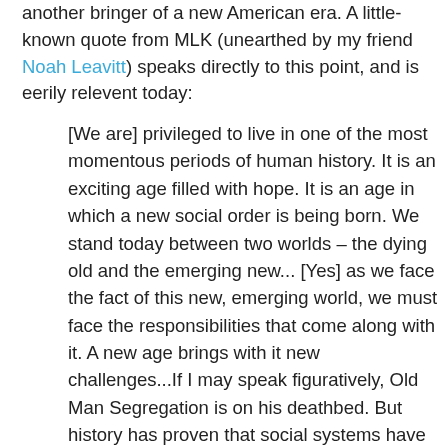another bringer of a new American era. A little-known quote from MLK (unearthed by my friend Noah Leavitt) speaks directly to this point, and is eerily relevent today:
[We are] privileged to live in one of the most momentous periods of human history. It is an exciting age filled with hope. It is an age in which a new social order is being born. We stand today between two worlds – the dying old and the emerging new... [Yes] as we face the fact of this new, emerging world, we must face the responsibilities that come along with it. A new age brings with it new challenges...If I may speak figuratively, Old Man Segregation is on his deathbed. But history has proven that social systems have a great last-minute breathing power, and the guardians of a-status quo are always on hand with their oxygen tents to keep the old order alive...If we are to speed up the coming of the new age we must have the moral courage to